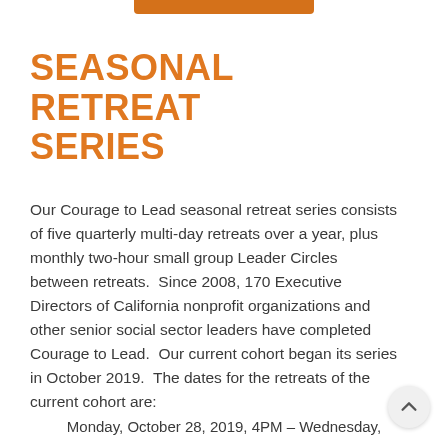[Figure (other): Orange decorative bar at the top center of the page]
SEASONAL RETREAT SERIES
Our Courage to Lead seasonal retreat series consists of five quarterly multi-day retreats over a year, plus monthly two-hour small group Leader Circles between retreats.  Since 2008, 170 Executive Directors of California nonprofit organizations and other senior social sector leaders have completed Courage to Lead.  Our current cohort began its series in October 2019.  The dates for the retreats of the current cohort are:
Monday, October 28, 2019, 4PM – Wednesday,